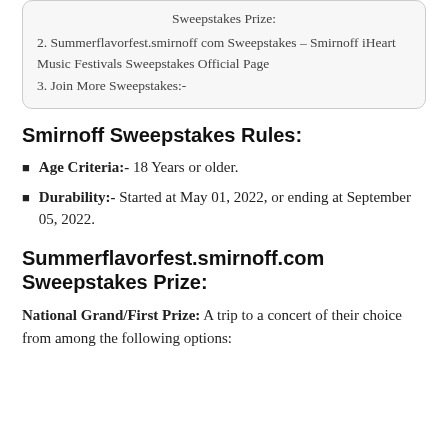Sweepstakes Prize:
2. Summerflavorfest.smirnoff com Sweepstakes – Smirnoff iHeart Music Festivals Sweepstakes Official Page
3. Join More Sweepstakes:-
Smirnoff Sweepstakes Rules:
Age Criteria:- 18 Years or older.
Durability:- Started at May 01, 2022, or ending at September 05, 2022.
Summerflavorfest.smirnoff.com Sweepstakes Prize:
National Grand/First Prize: A trip to a concert of their choice from among the following options: